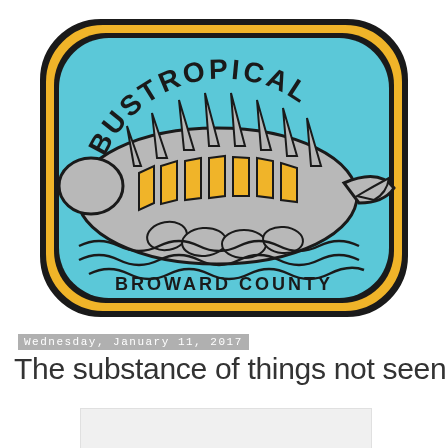[Figure (logo): Bustropical Broward County logo: rounded rectangle badge with yellow and dark border, light blue background, featuring a stylized gray manatee with yellow window panels on its body resembling a bus, spikes on top, and wavy water lines beneath. Text 'BUSTROPICAL' arched at top and 'BROWARD COUNTY' at bottom.]
Wednesday, January 11, 2017
The substance of things not seen